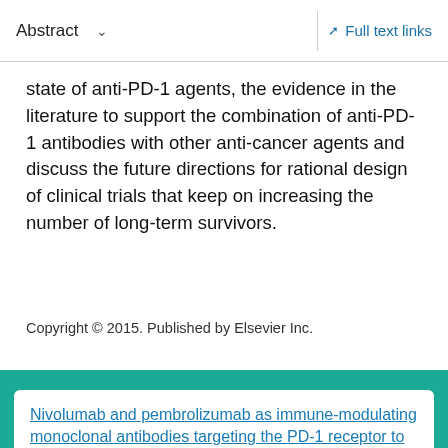Abstract   Full text links
state of anti-PD-1 agents, the evidence in the literature to support the combination of anti-PD-1 antibodies with other anti-cancer agents and discuss the future directions for rational design of clinical trials that keep on increasing the number of long-term survivors.
Copyright © 2015. Published by Elsevier Inc.
Similar articles
Nivolumab and pembrolizumab as immune-modulating monoclonal antibodies targeting the PD-1 receptor to treat melanoma.
Faghfuri E, et al. Expert Rev Anticancer Ther. 2015.
PMID: 26313415 Review.